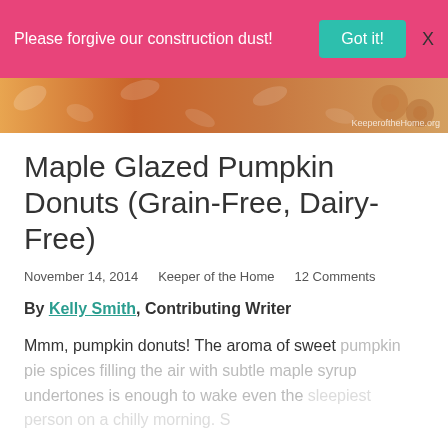Please forgive our construction dust! Got it! X
[Figure (photo): Decorative food/autumn themed header image with orange and cream patterns, watermark reads KeeperoftheHome.org]
Maple Glazed Pumpkin Donuts (Grain-Free, Dairy-Free)
November 14, 2014   Keeper of the Home   12 Comments
By Kelly Smith, Contributing Writer
Mmm, pumpkin donuts! The aroma of sweet pumpkin pie spices filling the air with subtle maple syrup undertones is enough to wake even the